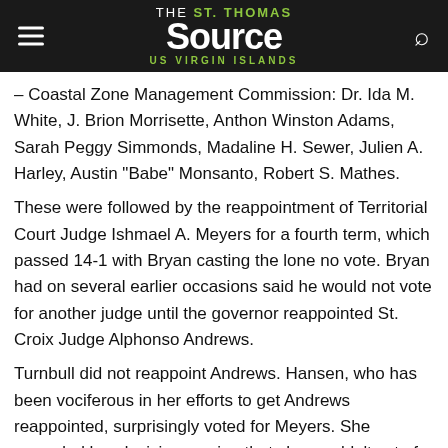THE St. Thomas SOURCE US VIRGIN ISLANDS
– Coastal Zone Management Commission: Dr. Ida M. White, J. Brion Morrisette, Anthon Winston Adams, Sarah Peggy Simmonds, Madaline H. Sewer, Julien A. Harley, Austin "Babe" Monsanto, Robert S. Mathes.
These were followed by the reappointment of Territorial Court Judge Ishmael A. Meyers for a fourth term, which passed 14-1 with Bryan casting the lone no vote. Bryan had on several earlier occasions said he would not vote for another judge until the governor reappointed St. Croix Judge Alphonso Andrews.
Turnbull did not reappoint Andrews. Hansen, who has been vociferous in her efforts to get Andrews reappointed, surprisingly voted for Meyers. She amended her decision, saying that she wouldn't vote for any other St. Croix judge. Meyers, a fixture in the V.I. judicial system, was lauded by all